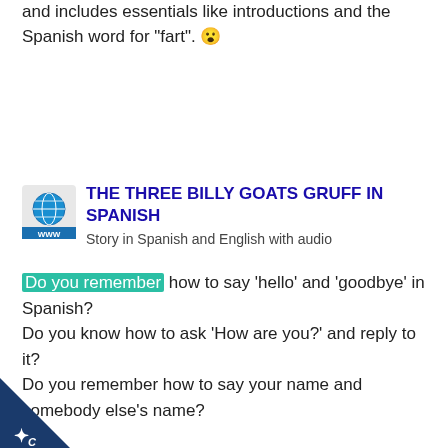and includes essentials like introductions and the Spanish word for "fart". 😮
[Figure (illustration): Website link block with globe/WWW icon and title 'THE THREE BILLY GOATS GRUFF IN SPANISH' with subtitle 'Story in Spanish and English with audio']
Do you remember how to say 'hello' and 'goodbye' in Spanish?
Do you know how to ask 'How are you?' and reply to it?
Do you remember how to say your name and somebody else's name?